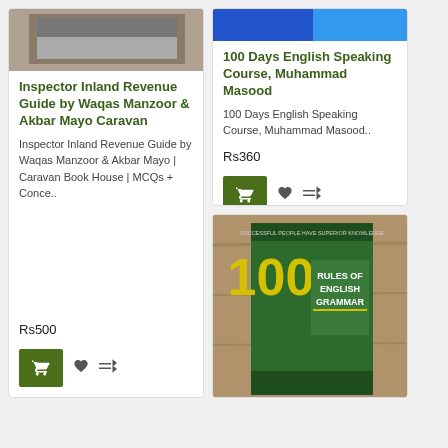[Figure (photo): Book cover for Inspector Inland Revenue Guide, partially visible at top]
Inspector Inland Revenue Guide by Waqas Manzoor & Akbar Mayo Caravan
Inspector Inland Revenue Guide by Waqas Manzoor & Akbar Mayo | Caravan Book House | MCQs + Conce..
Rs500
[Figure (photo): Book cover for 100 Days English Speaking Course, partially visible at top (blue cover)]
100 Days English Speaking Course, Muhammad Masood
100 Days English Speaking Course, Muhammad Masood..
Rs360
[Figure (photo): Book cover for 100 Rules of English Grammar, green cover with yellow text, on wood surface]